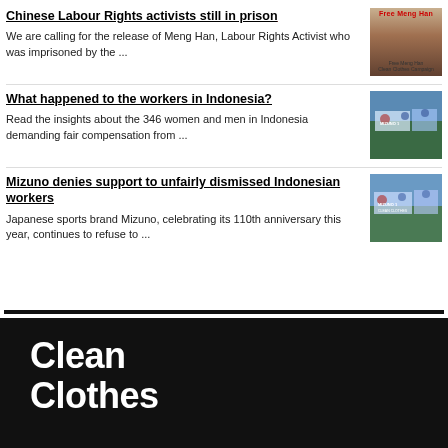Chinese Labour Rights activists still in prison
We are calling for the release of Meng Han, Labour Rights Activist who was imprisoned by the ...
[Figure (photo): Photo of Meng Han with 'Free Meng Han' text in red at top]
What happened to the workers in Indonesia?
Read the insights about the 346 women and men in Indonesia demanding fair compensation from ...
[Figure (photo): Photo of Indonesian workers protest rally with banners]
Mizuno denies support to unfairly dismissed Indonesian workers
Japanese sports brand Mizuno, celebrating its 110th anniversary this year, continues to refuse to ...
[Figure (photo): Photo of Indonesian workers protest rally with blue banners]
Clean Clothes